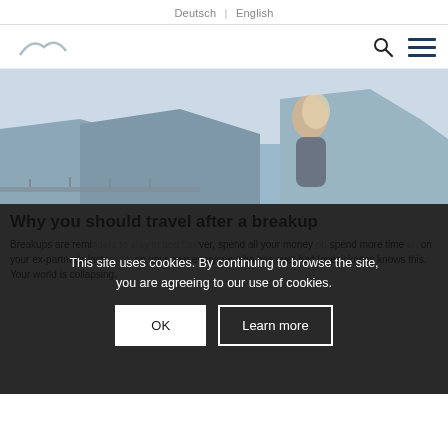Deutsch | English
[Figure (screenshot): Navigation bar with logo on left and search/menu icons on right]
[Figure (photo): Hero banner photo: smiling blonde woman outdoors with coastal cliffs and ocean in background]
Why you should travel after a breakup
Breakups are reminders to stay in bed forever, spend all your money on spend more time on your ex-partner's Instagram on your own everyone who has ever had lovesickness knows this. Your world is collapsing.
This site uses cookies. By continuing to browse the site, you are agreeing to our use of cookies.